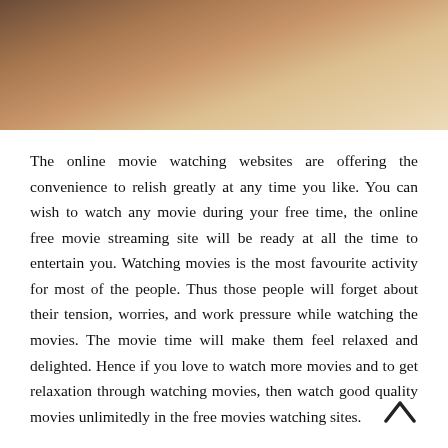[Figure (photo): Close-up photo of a person's hands or face, warm brown and beige tones]
The online movie watching websites are offering the convenience to relish greatly at any time you like. You can wish to watch any movie during your free time, the online free movie streaming site will be ready at all the time to entertain you. Watching movies is the most favourite activity for most of the people. Thus those people will forget about their tension, worries, and work pressure while watching the movies. The movie time will make them feel relaxed and delighted. Hence if you love to watch more movies and to get relaxation through watching movies, then watch good quality movies unlimitedly in the free movies watching sites.
Your choice can be whatever based on the category of the movie and time you wish to get entertained, the online